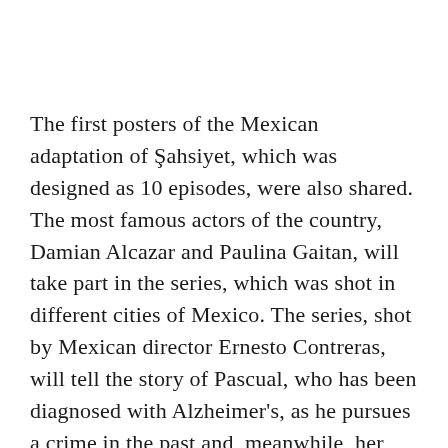The first posters of the Mexican adaptation of Şahsiyet, which was designed as 10 episodes, were also shared. The most famous actors of the country, Damian Alcazar and Paulina Gaitan, will take part in the series, which was shot in different cities of Mexico. The series, shot by Mexican director Ernesto Contreras, will tell the story of Pascual, who has been diagnosed with Alzheimer's, as he pursues a crime in the past and, meanwhile, her paths cross with Jimena, who is investigating the perpetrators of mysterious deaths.